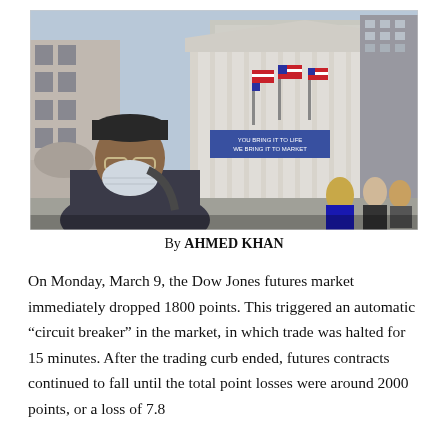[Figure (photo): A person wearing a medical mask standing in front of the New York Stock Exchange building on Wall Street, with American flags visible and other pedestrians in the background.]
By AHMED KHAN
On Monday, March 9, the Dow Jones futures market immediately dropped 1800 points. This triggered an automatic "circuit breaker" in the market, in which trade was halted for 15 minutes. After the trading curb ended, futures contracts continued to fall until the total point losses were around 2000 points, or a loss of 7.8